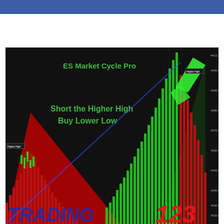[Figure (screenshot): ES Market Cycle Pro trading chart screenshot on dark background showing green bullish candles rising to a Higher High on the right side, with red bearish histogram bars below and diagonal lines crossing the chart. Text reads 'ES Market Cycle Pro', 'Short the Higher High', 'Buy Lower Low'. Brand watermark 'TRADING 123' at the bottom.]